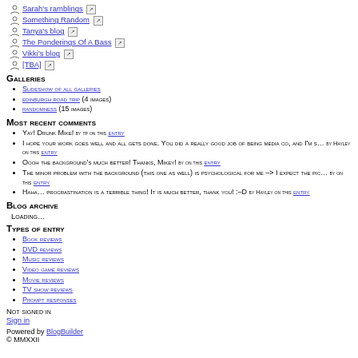Sarah's ramblings [external link]
Something Random [external link]
Tanya's blog [external link]
The Ponderings Of A Bass [external link]
Vikki's blog [external link]
[TBA] [external link]
Galleries
Slideshow of all galleries
edinburgh road trip (4 images)
randomness (15 images)
Most recent comments
Yay! Drunk Mike! by tp on this entry
I hope your work goes well and all gets done. You did a really good job of being media co, and I'm s… by Hayley on this entry
Oooh the background's much better! Thanks, Mikey! by on this entry
The minor problem with the background (this one as well) is psychological for me -> I expect the pic… by on this entry
Haha… procrastination is a terrible thing! It is much better, thank you! :–D by Hayley on this entry
Blog archive
Loading…
Types of entry
Book reviews
DVD reviews
Music reviews
Video game reviews
Movie reviews
TV show reviews
Prompt responses
Not signed in
Sign in
Powered by BlogBuilder © MMXXII